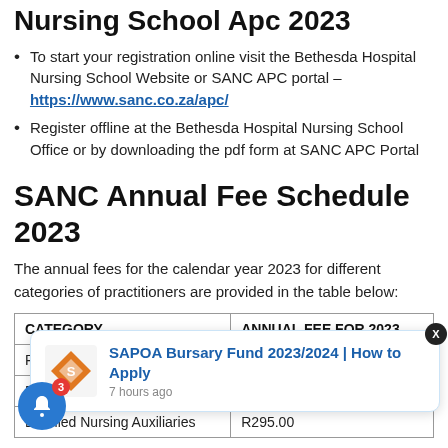Nursing School Apc 2023
To start your registration online visit the Bethesda Hospital Nursing School Website or SANC APC portal – https://www.sanc.co.za/apc/
Register offline at the Bethesda Hospital Nursing School Office or by downloading the pdf form at SANC APC Portal
SANC Annual Fee Schedule 2023
The annual fees for the calendar year 2023 for different categories of practitioners are provided in the table below:
| CATEGORY | ANNUAL FEE FOR 2023 |
| --- | --- |
| Registered Nurse |  |
| Enrolled Nurses and... |  |
| Enrolled Nursing Auxiliaries | R295.00 |
[Figure (infographic): SAPOA Bursary Fund 2023/2024 notification popup with SAPOA logo, title 'SAPOA Bursary Fund 2023/2024 | How to Apply', timestamp '7 hours ago', and a close button X. A blue notification bell with badge showing 3.]